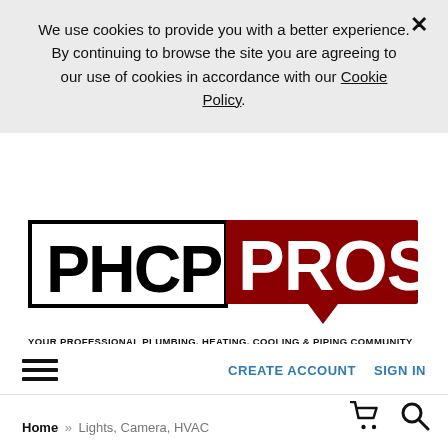We use cookies to provide you with a better experience. By continuing to browse the site you are agreeing to our use of cookies in accordance with our Cookie Policy.
[Figure (logo): PHCP Pros logo — 'PHCP' in black on white with black border, 'PROS' in white on dark red with speech bubble shape, tagline: YOUR PROFESSIONAL PLUMBING, HEATING, COOLING & PIPING COMMUNITY]
CREATE ACCOUNT   SIGN IN
Home » Lights, Camera, HVAC